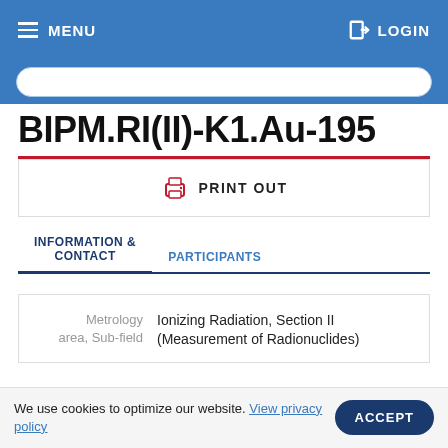MENU  LOGIN
BIPM.RI(II)-K1.Au-195
PRINT OUT
INFORMATION & CONTACT
PARTICIPANTS
| Field | Value |
| --- | --- |
| Metrology area, Sub-field | Ionizing Radiation, Section II (Measurement of Radionuclides) |
We use cookies to optimize our website. View privacy policy  ACCEPT